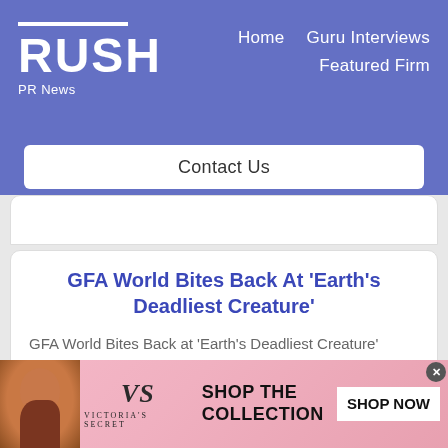RUSH PR News | Home | Guru Interviews | Featured Firm | Contact Us
GFA World Bites Back At ‘Earth’s Deadliest Creature’
GFA World Bites Back at ‘Earth’s Deadliest Creature’ World Mosquito Day, Aug. 20, thrusts spotlight attention in on the success of death the
[Figure (other): Victoria's Secret advertisement banner with model, VS logo, SHOP THE COLLECTION text, and SHOP NOW button]